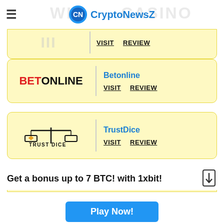CryptoNewsZ
[Figure (screenshot): Partially visible casino card at top (Wild Casino), showing VISIT and REVIEW links]
[Figure (screenshot): BetOnline casino card with BETONLINE logo, Betonline name, VISIT and REVIEW links]
[Figure (screenshot): TrustDice casino card with Trust Dice logo, TrustDice name, VISIT and REVIEW links]
[Figure (screenshot): Partially visible SuperSlots casino card at bottom]
Get a bonus up to 7 BTC! with 1xbit!
Play Now!